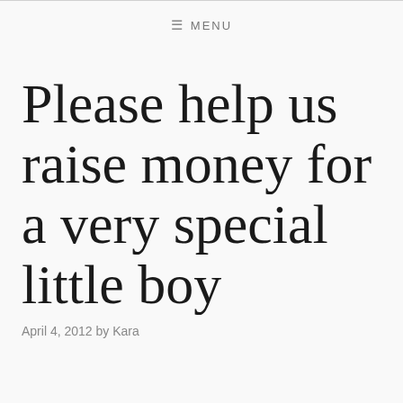≡ MENU
Please help us raise money for a very special little boy
April 4, 2012 by Kara